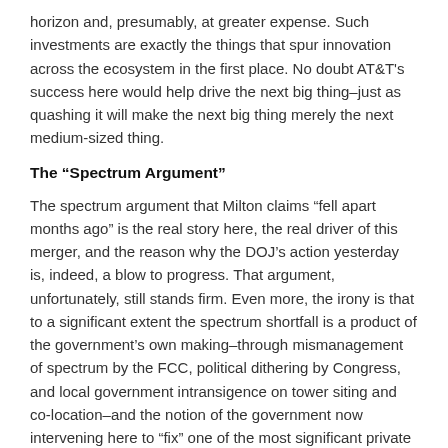horizon and, presumably, at greater expense. Such investments are exactly the things that spur innovation across the ecosystem in the first place. No doubt AT&T’s success here would help drive the next big thing–just as quashing it will make the next big thing merely the next medium-sized thing.
The “Spectrum Argument”
The spectrum argument that Milton claims “fell apart months ago” is the real story here, the real driver of this merger, and the reason why the DOJ’s action yesterday is, indeed, a blow to progress. That argument, unfortunately, still stands firm. Even more, the irony is that to a significant extent the spectrum shortfall is a product of the government’s own making–through mismanagement of spectrum by the FCC, political dithering by Congress, and local government intransigence on tower siting and co-location–and the notion of the government now intervening here to “fix” one of the most significant private efforts to make progress despite these government impediments is really troubling.
Anyway, here’s what we know about spectrum: There isn’t enough of it in large enough blocks and in bands suitable for broadband deployment using available technology to fully satisfy current–let alone future–demand.